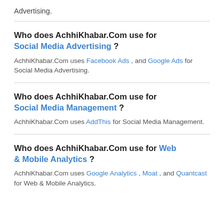Advertising.
Who does AchhiKhabar.Com use for Social Media Advertising ?
AchhiKhabar.Com uses Facebook Ads , and Google Ads for Social Media Advertising.
Who does AchhiKhabar.Com use for Social Media Management ?
AchhiKhabar.Com uses AddThis for Social Media Management.
Who does AchhiKhabar.Com use for Web & Mobile Analytics ?
AchhiKhabar.Com uses Google Analytics , Moat , and Quantcast for Web & Mobile Analytics.